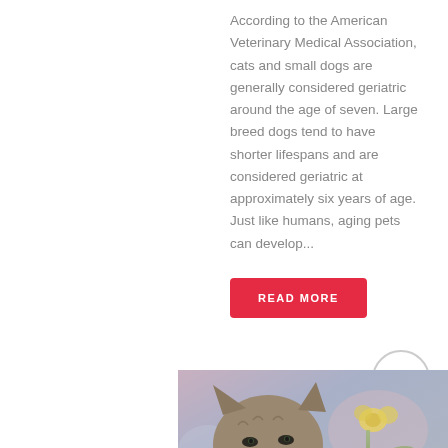According to the American Veterinary Medical Association, cats and small dogs are generally considered geriatric around the age of seven. Large breed dogs tend to have shorter lifespans and are considered geriatric at approximately six years of age. Just like humans, aging pets can develop...
READ MORE
[Figure (photo): A tabby cat photographed close up, with blurred flowers (yellow) and a soft purple/blue background visible.]